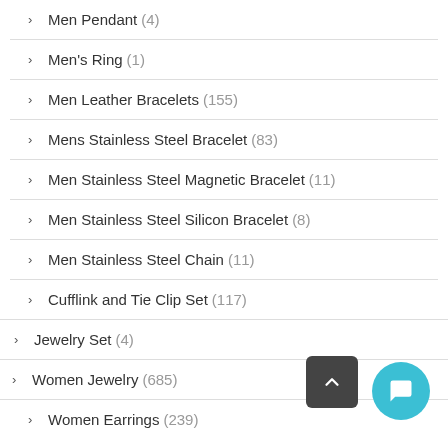Men Pendant (4)
Men's Ring (1)
Men Leather Bracelets (155)
Mens Stainless Steel Bracelet (83)
Men Stainless Steel Magnetic Bracelet (11)
Men Stainless Steel Silicon Bracelet (8)
Men Stainless Steel Chain (11)
Cufflink and Tie Clip Set (117)
Jewelry Set (4)
Women Jewelry (685)
Women Earrings (239)